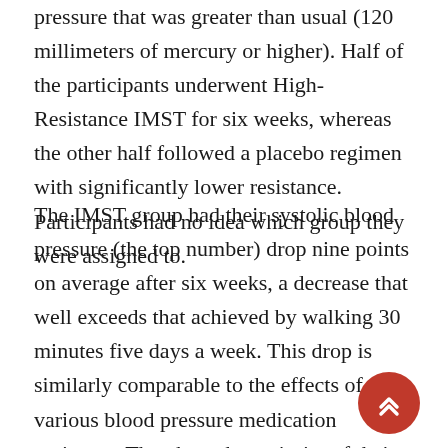pressure that was greater than usual (120 millimeters of mercury or higher). Half of the participants underwent High-Resistance IMST for six weeks, whereas the other half followed a placebo regimen with significantly lower resistance. Participants had no idea which group they were assigned to.
The IMST group had their systolic blood pressure (the top number) drop nine points on average after six weeks, a decrease that well exceeds that achieved by walking 30 minutes five days a week. This drop is similarly comparable to the effects of various blood pressure medication regimens. They kept the majority of their benefits six weeks after they stopped practicing IMST.